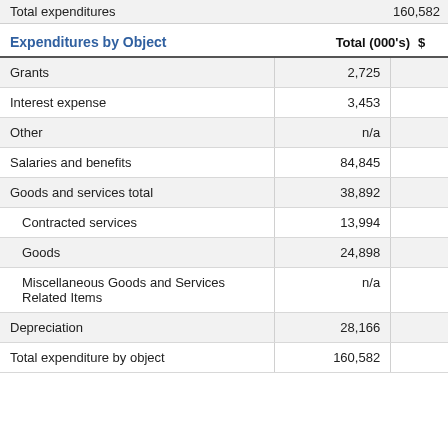| Expenditures by Object | Total (000's) | $ |
| --- | --- | --- |
| Total expenditures | 160,582 |  |
| Grants | 2,725 |  |
| Interest expense | 3,453 |  |
| Other | n/a |  |
| Salaries and benefits | 84,845 |  |
| Goods and services total | 38,892 |  |
| Contracted services | 13,994 |  |
| Goods | 24,898 |  |
| Miscellaneous Goods and Services Related Items | n/a |  |
| Depreciation | 28,166 |  |
| Total expenditure by object | 160,582 |  |